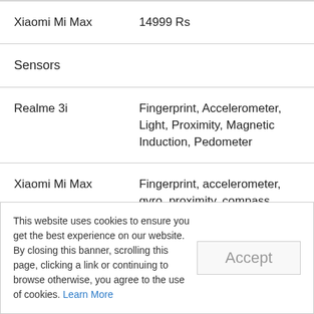| Device | Value |
| --- | --- |
| Xiaomi Mi Max | 14999 Rs |
| Sensors |  |
| Realme 3i | Fingerprint, Accelerometer, Light, Proximity, Magnetic Induction, Pedometer |
| Xiaomi Mi Max | Fingerprint, accelerometer, gyro, proximity, compass |
This website uses cookies to ensure you get the best experience on our website. By closing this banner, scrolling this page, clicking a link or continuing to browse otherwise, you agree to the use of cookies. Learn More